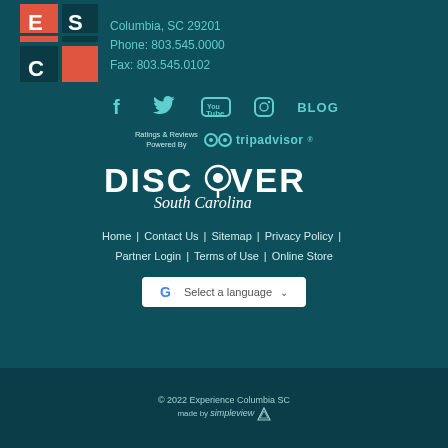[Figure (logo): Experience Columbia SC logo - red and teal square grid logo with EC letters]
Columbia, SC 29201
Phone: 803.545.0000
Fax: 803.545.0102
[Figure (infographic): Social media icons row: Facebook, Twitter, YouTube, Instagram, BLOG]
[Figure (logo): Ratings & Reviews Powered By TripAdvisor logo]
[Figure (logo): Discover South Carolina logo]
Home | Contact Us | Sitemap | Privacy Policy | Partner Login | Terms of Use | Online Store
[Figure (infographic): Google Translate Select a language dropdown button]
© 2022 Experience Columbia SC
made by simpleview